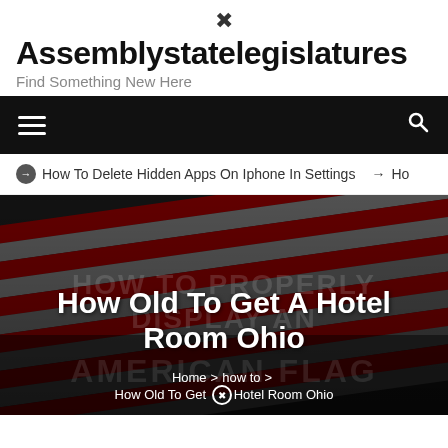Assemblystatelegislatures — Find Something New Here
[Figure (screenshot): Navigation bar with hamburger menu and search icon on black background]
How To Delete Hidden Apps On Iphone In Settings  ⊙ Ho
[Figure (photo): American flag background with overlaid text: How Old To Get A Hotel Room Ohio. Breadcrumb navigation: Home > how to > How Old To Get A Hotel Room Ohio]
How Old To Get A Hotel Room Ohio
Home > how to > How Old To Get ⊗ Hotel Room Ohio